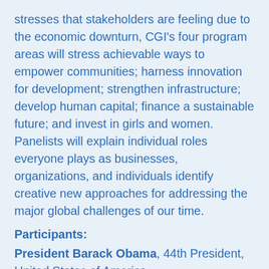stresses that stakeholders are feeling due to the economic downturn, CGI's four program areas will stress achievable ways to empower communities; harness innovation for development; strengthen infrastructure; develop human capital; finance a sustainable future; and invest in girls and women. Panelists will explain individual roles everyone plays as businesses, organizations, and individuals identify creative new approaches for addressing the major global challenges of our time.
Participants:
President Barack Obama, 44th President, United States of America
President Bill Clinton, 42nd President, United States of America; Founding Chairman, Clinton